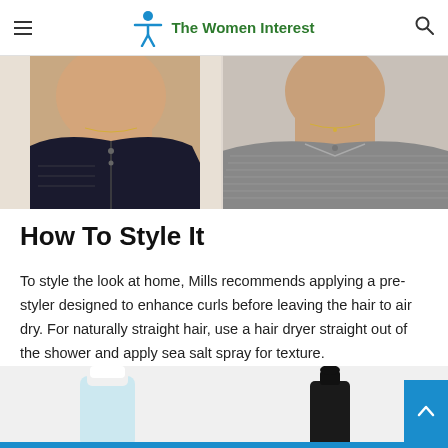The Women Interest
[Figure (photo): Two male models side by side: left model wearing a dark patterned jacket with zipper, right model wearing a grey striped shirt with collar, both showing neck and lower face/chin area]
How To Style It
To style the look at home, Mills recommends applying a pre-styler designed to enhance curls before leaving the hair to air dry. For naturally straight hair, use a hair dryer straight out of the shower and apply sea salt spray for texture.
[Figure (photo): Partial view of hair product bottles at the bottom of the page: a light blue bottle with white cap on the left, and a dark bottle with black pump/cap on the right]